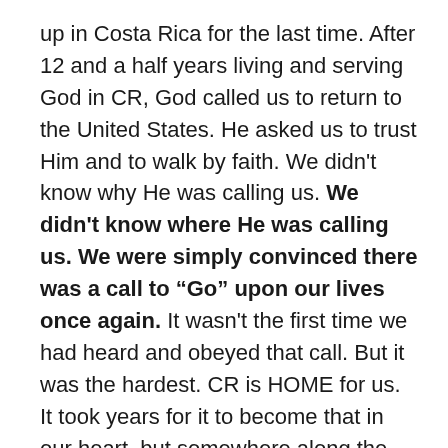up in Costa Rica for the last time. After 12 and a half years living and serving God in CR, God called us to return to the United States. He asked us to trust Him and to walk by faith. We didn't know why He was calling us. We didn't know where He was calling us. We were simply convinced there was a call to “Go” upon our lives once again. It wasn't the first time we had heard and obeyed that call. But it was the hardest. CR is HOME for us. It took years for it to become that in our heart, but somewhere along the way it did. Over 12 years of ministry in the same little town left us with many friends and people we call family.